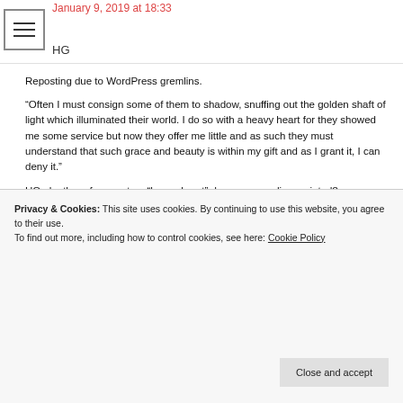January 9, 2019 at 18:33
HG
Reposting due to WordPress gremlins.
“Often I must consign some of them to shadow, snuffing out the golden shaft of light which illuminated their world. I do so with a heavy heart for they showed me some service but now they offer me little and as such they must understand that such grace and beauty is within my gift and as I grant it, I can deny it.”
HG.. by the reference to a “heavy heart” do you mean disappointed?
Privacy & Cookies: This site uses cookies. By continuing to use this website, you agree to their use.
To find out more, including how to control cookies, see here: Cookie Policy
Close and accept